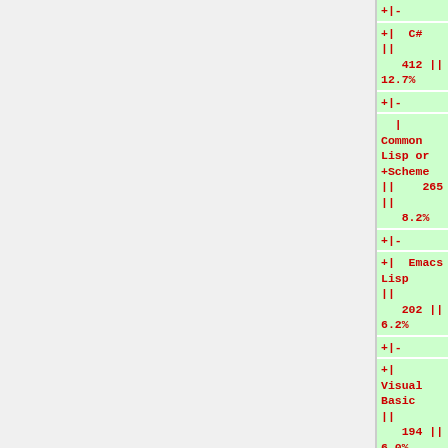+|-
+|  C#  ||  412 ||  12.7%
+|-
+|  Common Lisp or Scheme ||    265 ||  8.2%
+|-
+|  Emacs Lisp  ||  202 ||   6.2%
+|-
+|  Visual Basic  ||  194 ||   6.0%
+|-
+|  Delphi  ||  98 ||   3.0%
+|-
+|  "Tcl/Tk"  ||  89 ||   2.8%
+|-
+|  Haskell  ||